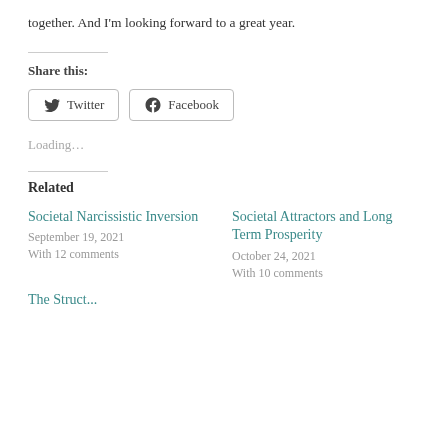together. And I'm looking forward to a great year.
Share this:
Twitter  Facebook
Loading…
Related
Societal Narcissistic Inversion
September 19, 2021
With 12 comments

Societal Attractors and Long Term Prosperity
October 24, 2021
With 10 comments
The Struct...